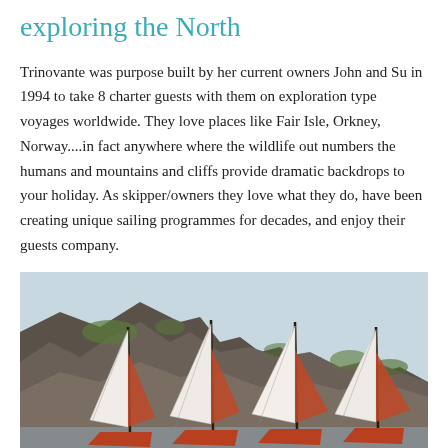exploring the North
Trinovante was purpose built by her current owners John and Su in 1994 to take 8 charter guests with them on exploration type voyages worldwide. They love places like Fair Isle, Orkney, Norway....in fact anywhere where the wildlife out numbers the humans and mountains and cliffs provide dramatic backdrops to your holiday. As skipper/owners they love what they do, have been creating unique sailing programmes for decades, and enjoy their guests company.
[Figure (photo): Photograph of several traditional sailing boats with white and red-orange sails, moored in front of dramatic rocky cliff faces with green patches, under a pale sky.]